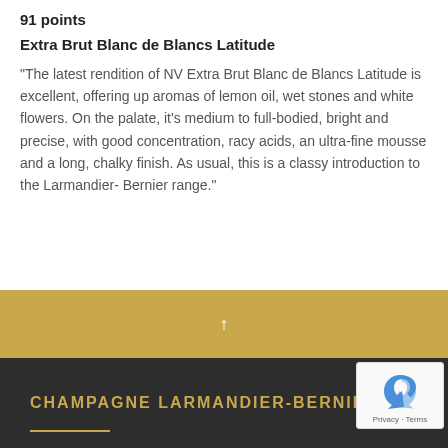91 points
Extra Brut Blanc de Blancs Latitude
“The latest rendition of NV Extra Brut Blanc de Blancs Latitude is excellent, offering up aromas of lemon oil, wet stones and white flowers. On the palate, it’s medium to full-bodied, bright and precise, with good concentration, racy acids, an ultra-fine mousse and a long, chalky finish. As usual, this is a classy introduction to the Larmandier- Bernier range.”
CHAMPAGNE LARMANDIER-BERNIER